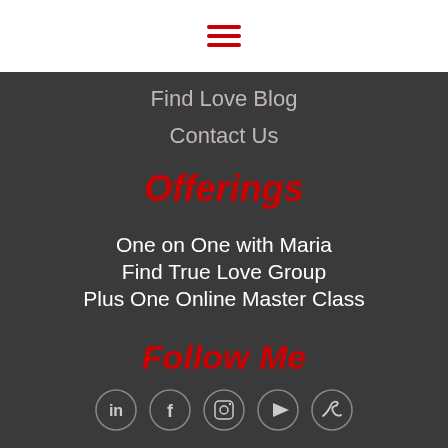[Figure (other): Hamburger menu icon with three red horizontal lines on white background]
Find Love Blog
Contact Us
Offerings
One on One with Maria
Find True Love Group
Plus One Online Master Class
Follow Me
[Figure (other): Social media icons row: LinkedIn, Facebook, Instagram, YouTube, Twitter — white circular icons on dark background]
Book A Complimentary Consultation With Maria Today